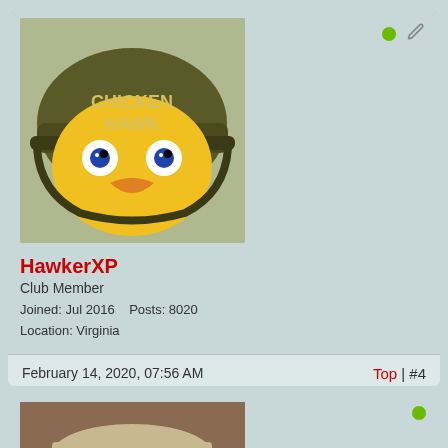[Figure (photo): Avatar of HawkerXP: a cartoon yellow chick wearing a military helmet labeled 'CHICKEN HAWK']
HawkerXP
Club Member
Joined: Jul 2016    Posts: 8020
Location: Virginia
February 14, 2020, 07:56 AM
Top | #4
Welcome to the Pit! Love that avatar!
[Figure (photo): Avatar of second user: smiling older man wearing a beige cap with 'Vintage Dude' text]